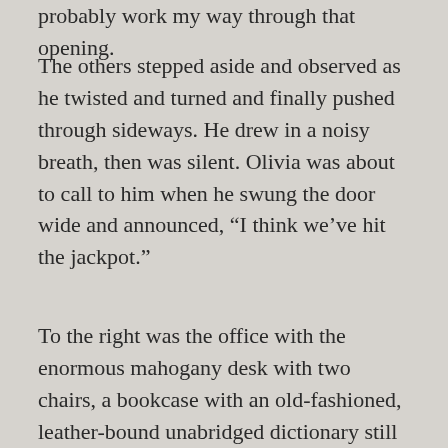probably work my way through that opening.
The others stepped aside and observed as he twisted and turned and finally pushed through sideways. He drew in a noisy breath, then was silent. Olivia was about to call to him when he swung the door wide and announced, “I think we’ve hit the jackpot.”
To the right was the office with the enormous mahogany desk with two chairs, a bookcase with an old-fashioned, leather-bound unabridged dictionary still on display, and the dusty strikes left by the edges of books that had been there recently. Behind the desk was a wooden peg with a large ring of iron keys. Olivia grabbed them eagerly and ran toward